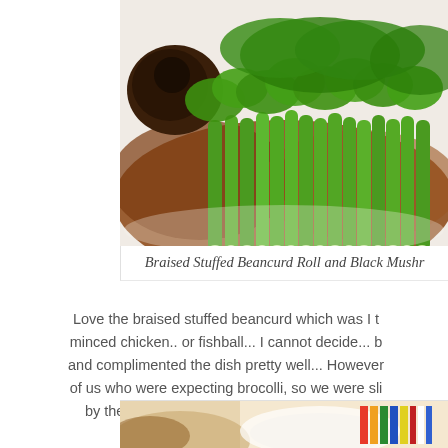[Figure (photo): Close-up photo of braised stuffed beancurd roll and black mushroom dish with bright green Kai Lan vegetables on a white plate with brown sauce]
Braised Stuffed Beancurd Roll and Black Mushr...
Love the braised stuffed beancurd which was f... minced chicken.. or fishball... I cannot decide... b... and complimented the dish pretty well... However,... of us who were expecting brocolli, so we were sli... by the Kai Lan... but it did not make the dish...
[Figure (photo): Partial view of another dish at the bottom of the page]